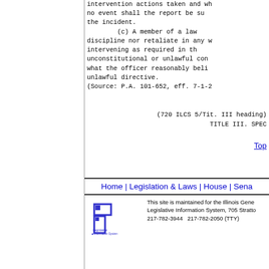intervention actions taken and wh no event shall the report be su the incident.
        (c) A member of a law discipline nor retaliate in any w intervening as required in th unconstitutional or unlawful con what the officer reasonably beli unlawful directive.
(Source: P.A. 101-652, eff. 7-1-2
(720 ILCS 5/Tit. III heading)
TITLE III. SPEC
Top
Home | Legislation & Laws | House | Sena
[Figure (logo): LIS Legislative Information System logo]
This site is maintained for the Illinois Gener Legislative Information System, 705 Stratto 217-782-3944   217-782-2050 (TTY)